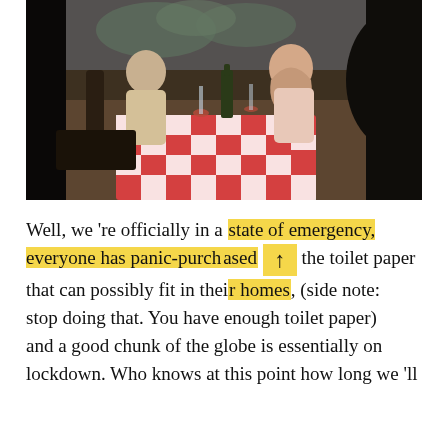[Figure (photo): A couple on a dinner date at a restaurant, sitting across from each other at a table with a red-and-white checkered tablecloth, wine bottle and glasses present, with a painted mural backdrop. The scene is viewed from behind a silhouetted figure in the foreground.]
Well, we 're officially in a state of emergency, everyone has panic-purchased all the toilet paper that can possibly fit in their homes, (side note: stop doing that. You have enough toilet paper) and a good chunk of the globe is essentially on lockdown. Who knows at this point how long we 'll